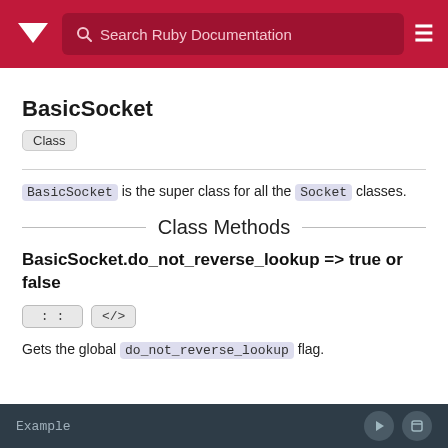Search Ruby Documentation
BasicSocket
Class
BasicSocket is the super class for all the Socket classes.
Class Methods
BasicSocket.do_not_reverse_lookup => true or false
:: </>
Gets the global do_not_reverse_lookup flag.
Example